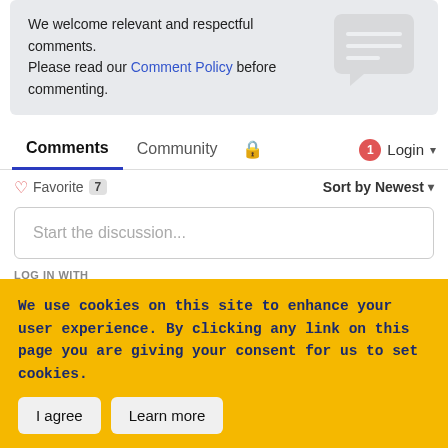We welcome relevant and respectful comments.
Please read our Comment Policy before commenting.
Comments  Community  Login
Favorite 7   Sort by Newest
Start the discussion...
LOG IN WITH
[Figure (screenshot): Social login icons: Disqus (D), Facebook (f), Twitter bird, Google (G)]
We use cookies on this site to enhance your user experience. By clicking any link on this page you are giving your consent for us to set cookies.
I agree   Learn more